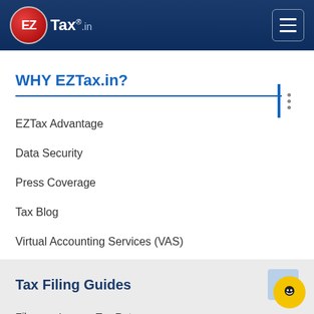[Figure (logo): EZTax.in logo with red circle and navigation bar with hamburger menu on dark blue background]
WHY EZTax.in?
EZTax Advantage
Data Security
Press Coverage
Tax Blog
Virtual Accounting Services (VAS)
Tax Filing Guides
File your Income Tax Return
Salary Income Tax Guide